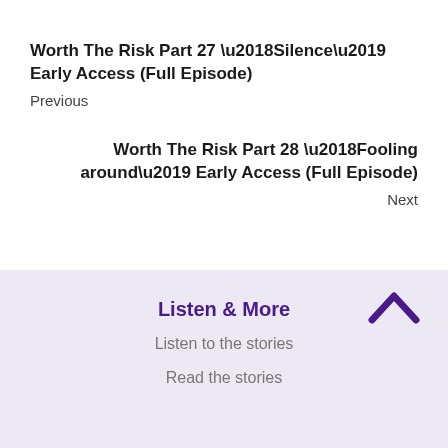Worth The Risk Part 27 ‘Silence’ Early Access (Full Episode)
Previous
Worth The Risk Part 28 ‘Fooling around’ Early Access (Full Episode)
Next
Listen & More
Listen to the stories
Read the stories